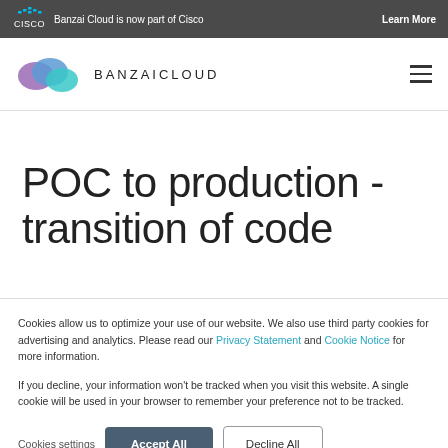Banzai Cloud is now part of Cisco   Learn More
[Figure (logo): Banzai Cloud logo with abstract overlapping circles in blue, teal, and purple, followed by text BANZAICLOUD]
POC to production - transition of code
Cookies allow us to optimize your use of our website. We also use third party cookies for advertising and analytics. Please read our Privacy Statement and Cookie Notice for more information.
If you decline, your information won’t be tracked when you visit this website. A single cookie will be used in your browser to remember your preference not to be tracked.
Cookies settings   Accept All   Decline All